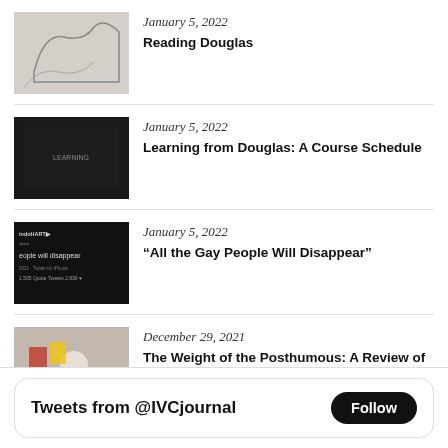January 5, 2022 | Reading Douglas
January 5, 2022 | Learning from Douglas: A Course Schedule
January 5, 2022 | “All the Gay People Will Disappear”
December 29, 2021 | The Weight of the Posthumous: A Review of Etel Adnan “…
Tweets from @IVCjournal